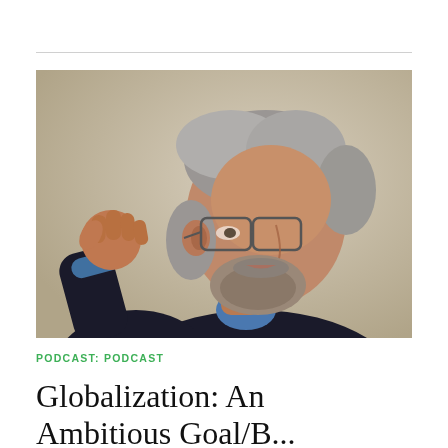[Figure (photo): A middle-aged man with gray hair and glasses, wearing a dark blazer over a blue shirt, seated and gesturing with his right hand raised in a fist-like pose, photographed in profile/three-quarter view against a blurred beige background.]
PODCAST: PODCAST
Globalization: An Ambitious Goal/B...